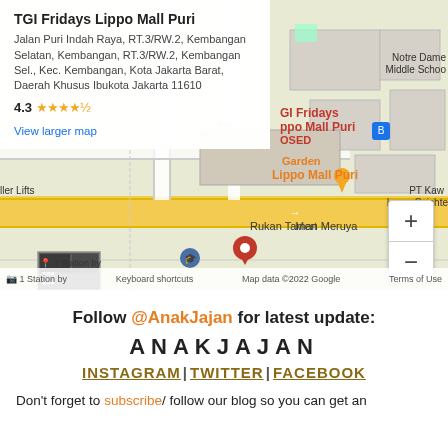[Figure (map): Google Maps embed showing TGI Fridays Lippo Mall Puri location in Kembangan, Jakarta Barat, with info box showing address and 4.3 star rating, map features road network, Lippo Mall Puri label, zoom controls, and bottom bar with keyboard shortcuts and map data attribution.]
Follow @AnakJajan for latest update:
ANAKJAJAN
INSTAGRAM | TWITTER | FACEBOOK
Don't forget to subscribe/ follow our blog so you can get an